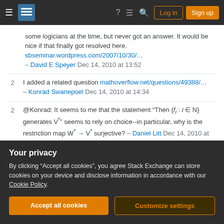Stack Exchange navigation bar with hamburger menu, logo, help, chat, search icons, Log in and Sign up buttons
some logicians at the time, but never got an answer. It would be nice if that finally got resolved here. sbseminar.wordpress.com/2007/10/30/… – David E Speyer Dec 14, 2010 at 13:52
2 I added a related question mathoverflow.net/questions/49388/… – Konrad Swanepoel Dec 14, 2010 at 14:34
2 @Konrad: It seems to me that the statement "Then {f_i : i ∈ N} generates V*" seems to rely on choice--in particular, why is the restriction map W* → V* surjective? – Daniel Litt Dec 14, 2010 at 20:36
Your privacy
By clicking "Accept all cookies", you agree Stack Exchange can store cookies on your device and disclose information in accordance with our Cookie Policy.
Accept all cookies
Customize settings